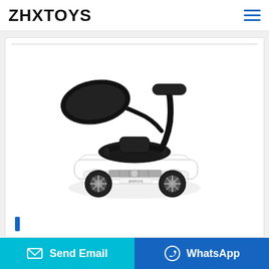ZHXTOYS
[Figure (photo): Children's ride-on push car toy resembling a white Bentley luxury car, with a black canopy/sunshade on an articulated arm, a parent push handle, safety bar, and decorative seat. The toy is styled after a luxury SUV with chrome-look wheels.]
Send Email
WhatsApp